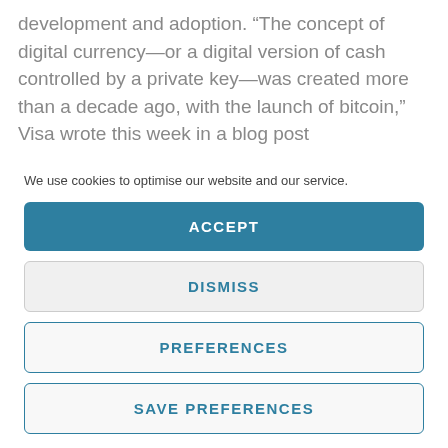development and adoption. “The concept of digital currency—or a digital version of cash controlled by a private key—was created more than a decade ago, with the launch of bitcoin,” Visa wrote this week in a blog post
We use cookies to optimise our website and our service.
ACCEPT
DISMISS
PREFERENCES
SAVE PREFERENCES
Cookie Policy   Privacy Policy